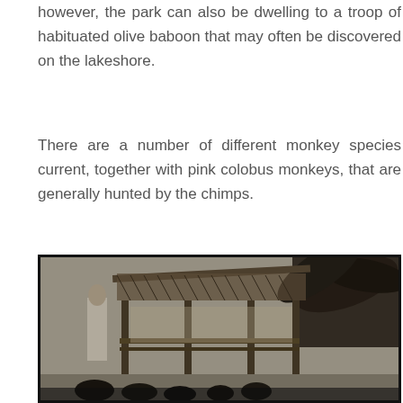however, the park can also be dwelling to a troop of habituated olive baboon that may often be discovered on the lakeshore.
There are a number of different monkey species current, together with pink colobus monkeys, that are generally hunted by the chimps.
[Figure (photo): Black and white photograph of a person standing near a thatched-roof structure with palm trees in the background, with several animals (likely chimpanzees) in the foreground.]